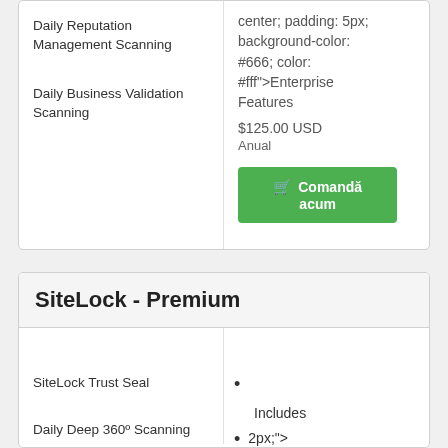Daily Reputation Management Scanning
center; padding: 5px; background-color: #666; color: #fff">Enterprise Features
$125.00 USD
Anual
Comandă acum
Daily Business Validation Scanning
SiteLock - Premium
SiteLock Trust Seal
Daily Deep 360º Scanning
Daily Network Security Scanning
Includes
2px;"> 0;">Phone Number Verification
Adds Premium Features
solid 1px #fff; background: none;">